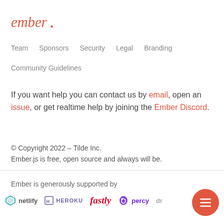[Figure (logo): Ember.js logo in red/orange script font]
Team   Sponsors   Security   Legal   Branding
Community Guidelines
If you want help you can contact us by email, open an issue, or get realtime help by joining the Ember Discord.
© Copyright 2022 - Tilde Inc.
Ember.js is free, open source and always will be.
Ember is generously supported by
[Figure (logo): Sponsor logos row: netlify, HEROKU, fastly, percy, and partially visible logo]